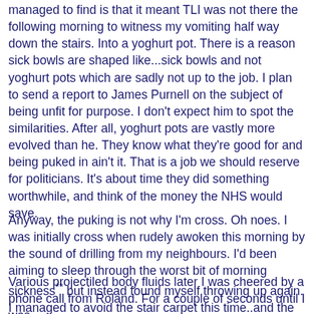managed to find is that it meant TLI was not there the following morning to witness my vomiting half way down the stairs. Into a yoghurt pot. There is a reason sick bowls are shaped like...sick bowls and not yoghurt pots which are sadly not up to the job. I plan to send a report to James Purnell on the subject of being unfit for purpose. I don't expect him to spot the similarities. After all, yoghurt pots are vastly more evolved than he. They know what they're good for and being puked in ain't it. That is a job we should reserve for politicians. It's about time they did something worthwhile, and think of the money the NHS would save.
Anyway, the puking is not why I'm cross. Oh noes. I was initially cross when rudely awoken this morning by the sound of drilling from my neighbours. I'd been aiming to sleep through the worst bit of morning sickness** but instead found myself throwing up again. I managed to avoid the stair carpet this time..and the cat, though that was a close miss. You'd think she'd learn...
Various projectiled body fluids later I was cheered by a phone call from Roland. For a couple of seconds until I was